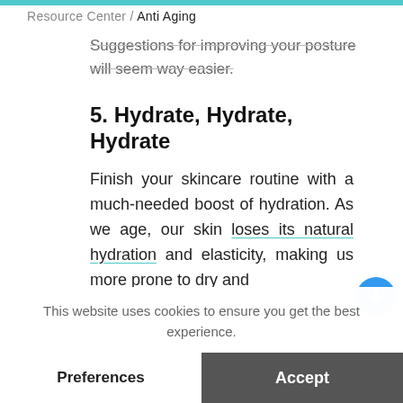Resource Center / Anti Aging
Suggestions for improving your posture will seem way easier.
5. Hydrate, Hydrate, Hydrate
Finish your skincare routine with a much-needed boost of hydration. As we age, our skin loses its natural hydration and elasticity, making us more prone to dry and
This website uses cookies to ensure you get the best experience.
Preferences
Accept